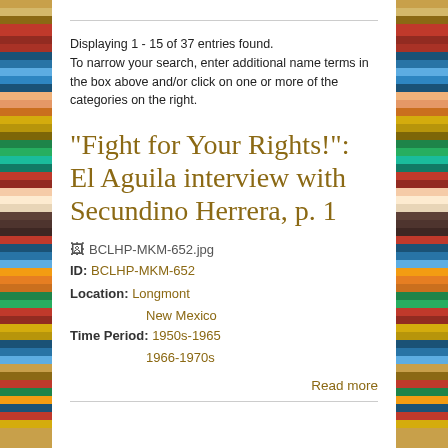Displaying 1 - 15 of 37 entries found.
To narrow your search, enter additional name terms in the box above and/or click on one or more of the categories on the right.
"Fight for Your Rights!": El Aguila interview with Secundino Herrera, p. 1
BCLHP-MKM-652.jpg
ID: BCLHP-MKM-652
Location: Longmont
New Mexico
Time Period: 1950s-1965
1966-1970s
Read more